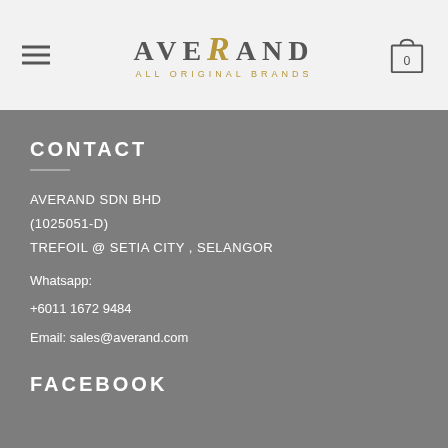[Figure (logo): Averand logo with stylized golden italic R, text 'AVERAND' in grey spaced lettering, subtitle 'ALL ORIGINAL BRANDS' in gold]
CONTACT
AVERAND SDN BHD
(1025051-D)
TREFOIL @ SETIA CITY , SELANGOR
Whatsapp:
+6011 1672 9484
Email: sales@averand.com
FACEBOOK